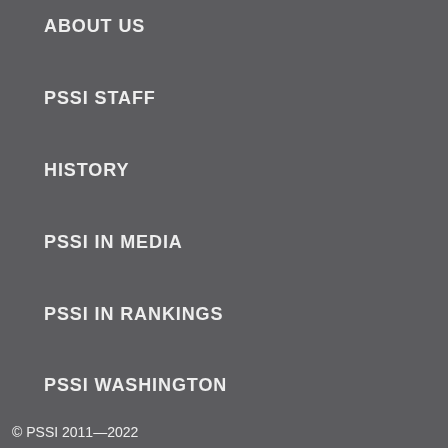ABOUT US
PSSI STAFF
HISTORY
PSSI IN MEDIA
PSSI IN RANKINGS
PSSI WASHINGTON
CONTACT US
SUPPORT PSSI
SUPPORT US
ANNUAL REPORTS
© PSSI 2011—2022